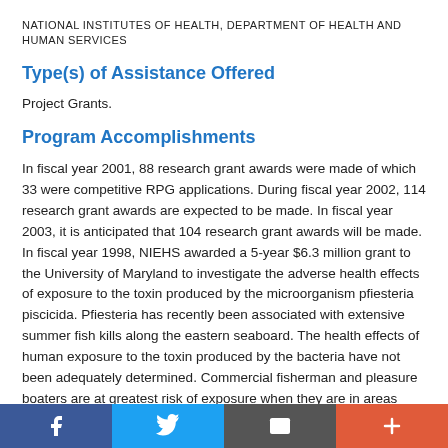NATIONAL INSTITUTES OF HEALTH, DEPARTMENT OF HEALTH AND HUMAN SERVICES
Type(s) of Assistance Offered
Project Grants.
Program Accomplishments
In fiscal year 2001, 88 research grant awards were made of which 33 were competitive RPG applications. During fiscal year 2002, 114 research grant awards are expected to be made. In fiscal year 2003, it is anticipated that 104 research grant awards will be made. In fiscal year 1998, NIEHS awarded a 5-year $6.3 million grant to the University of Maryland to investigate the adverse health effects of exposure to the toxin produced by the microorganism pfiesteria piscicida. Pfiesteria has recently been associated with extensive summer fish kills along the eastern seaboard. The health effects of human exposure to the toxin produced by the bacteria have not been adequately determined. Commercial fisherman and pleasure boaters are at greatest risk of exposure when they are in areas where fish kills have occurred. The grant will fund neurocognitive